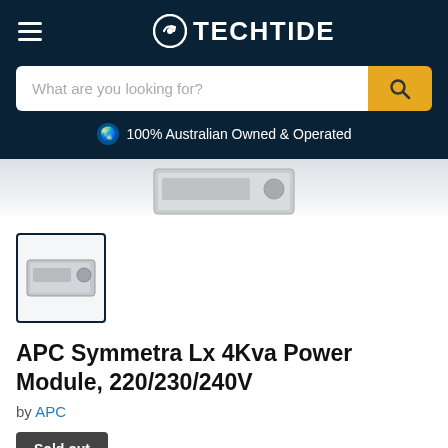TECHTIDE
What are you looking for?
100% Australian Owned & Operated
[Figure (photo): Product thumbnail image of APC Symmetra Lx 4Kva Power Module, a silver rectangular UPS power module device]
APC Symmetra Lx 4Kva Power Module, 220/230/240V
by APC
Sold out